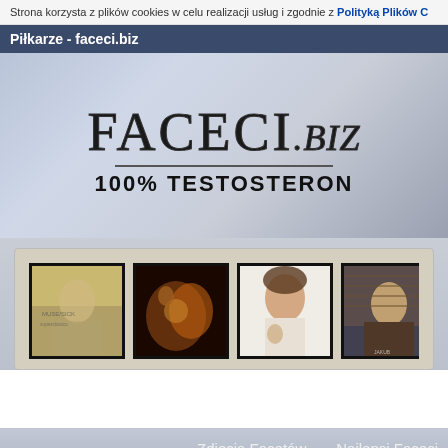Strona korzysta z plików cookies w celu realizacji usług i zgodnie z Polityką Plików C...
Piłkarze - faceci.biz
[Figure (illustration): faceci.biz website banner/logo showing large serif text 'FACECI.BIZ' with tagline '100% TESTOSTERON' on grey textured background]
[Figure (photo): Horizontal strip of 5 thumbnail images showing various people/movie posters]
Zdjęcia Facetów   Najlepsi Faceci